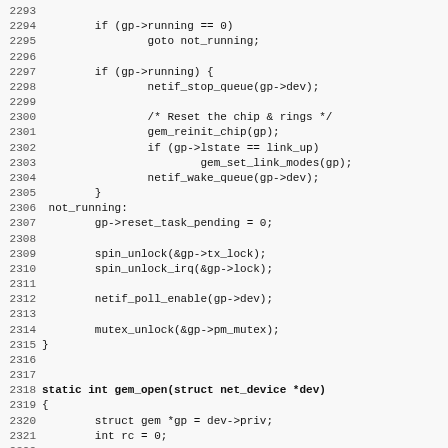Source code listing lines 2293-2325, C kernel driver code for gem network device
2293 (blank)
2294     if (gp->running == 0)
2295             goto not_running;
2296 (blank)
2297     if (gp->running) {
2298             netif_stop_queue(gp->dev);
2299 (blank)
2300             /* Reset the chip & rings */
2301             gem_reinit_chip(gp);
2302             if (gp->lstate == link_up)
2303                     gem_set_link_modes(gp);
2304             netif_wake_queue(gp->dev);
2305     }
2306 not_running:
2307         gp->reset_task_pending = 0;
2308 (blank)
2309         spin_unlock(&gp->tx_lock);
2310         spin_unlock_irq(&gp->lock);
2311 (blank)
2312         netif_poll_enable(gp->dev);
2313 (blank)
2314         mutex_unlock(&gp->pm_mutex);
2315 }
2316 (blank)
2317 (blank)
2318 static int gem_open(struct net_device *dev)
2319 {
2320         struct gem *gp = dev->priv;
2321         int rc = 0;
2322 (blank)
2323         mutex_lock(&gp->pm_mutex);
2324 (blank)
2325 (partial, cut off)